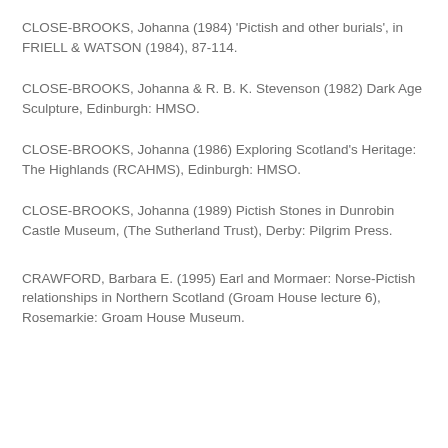CLOSE-BROOKS, Johanna (1984) 'Pictish and other burials', in FRIELL & WATSON (1984), 87-114.
CLOSE-BROOKS, Johanna & R. B. K. Stevenson (1982) Dark Age Sculpture, Edinburgh: HMSO.
CLOSE-BROOKS, Johanna (1986) Exploring Scotland's Heritage: The Highlands (RCAHMS), Edinburgh: HMSO.
CLOSE-BROOKS, Johanna (1989) Pictish Stones in Dunrobin Castle Museum, (The Sutherland Trust), Derby: Pilgrim Press.
CRAWFORD, Barbara E. (1995) Earl and Mormaer: Norse-Pictish relationships in Northern Scotland (Groam House lecture 6), Rosemarkie: Groam House Museum.